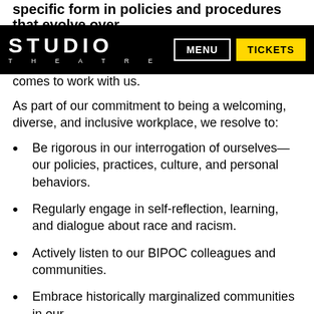specific form in policies and procedures that evolve over
[Figure (logo): Studio Theatre logo in white on black background, with MENU and TICKETS navigation buttons]
revisit regularly and share with everyone who comes to work with us.
As part of our commitment to being a welcoming, diverse, and inclusive workplace, we resolve to:
Be rigorous in our interrogation of ourselves—our policies, practices, culture, and personal behaviors.
Regularly engage in self-reflection, learning, and dialogue about race and racism.
Actively listen to our BIPOC colleagues and communities.
Embrace historically marginalized communities in our